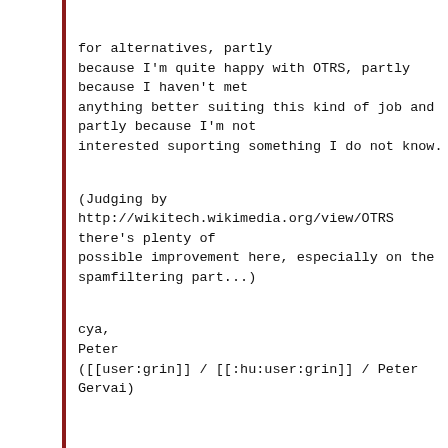for alternatives, partly because I'm quite happy with OTRS, partly because I haven't met anything better suiting this kind of job and partly because I'm not interested suporting something I do not know.

(Judging by http://wikitech.wikimedia.org/view/OTRS there's plenty of possible improvement here, especially on the spamfiltering part...)

cya,
Peter
([[user:grin]] / [[:hu:user:grin]] / Peter Gervai)
___
Wikimedia-l mailing list
Wikimedia-l@lists.wikimedia.org
Unsubscribe:
https://lists.wikimedia.org/mailman/listinfo/wikimedia-l